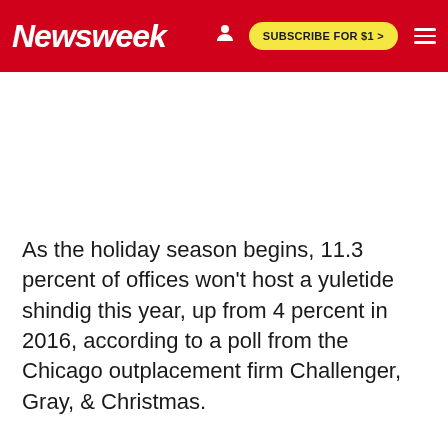Newsweek | SUBSCRIBE FOR $1 >
As the holiday season begins, 11.3 percent of offices won't host a yuletide shindig this year, up from 4 percent in 2016, according to a poll from the Chicago outplacement firm Challenger, Gray, & Christmas.